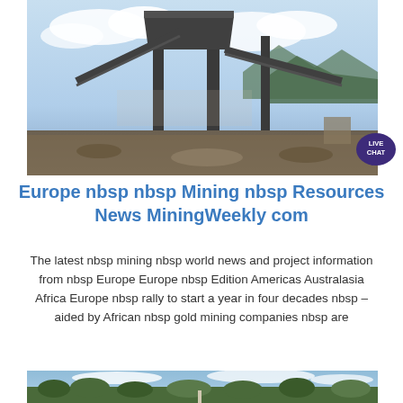[Figure (photo): Mining processing plant with conveyor belts and steel structure against a partly cloudy sky, with mountains in the background and rocky terrain in the foreground]
Europe nbsp nbsp Mining nbsp Resources News MiningWeekly com
The latest nbsp mining nbsp world news and project information from nbsp Europe Europe nbsp Edition Americas Australasia Africa Europe nbsp rally to start a year in four decades nbsp – aided by African nbsp gold mining companies nbsp are
[Figure (photo): Aerial or elevated landscape view with lush green treetops and a partly cloudy sky, suggesting an African or outdoor mining region setting]